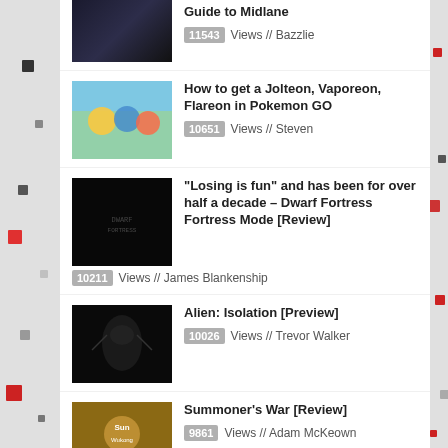Guide to Midlane
How to get a Jolteon, Vaporeon, Flareon in Pokemon GO
“Losing is fun” and has been for over half a decade – Dwarf Fortress Fortress Mode [Review]
Alien: Isolation [Preview]
Summoner’s War [Review]
Minecraft Pokemon Mod: Pixelmon Red [Quick Start Guide]